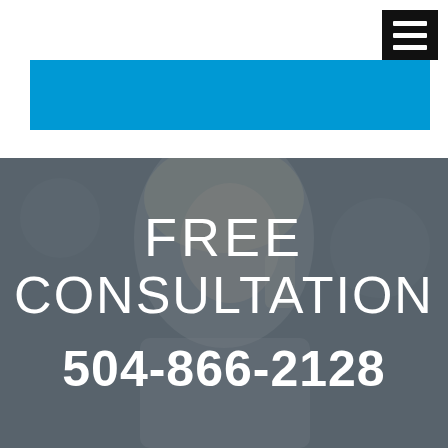[Figure (other): Navigation hamburger menu icon — black square with three white horizontal bars, top right corner]
[Figure (other): Blue rectangular banner/header bar below the white top navigation area]
[Figure (photo): Background photo of a smiling woman talking on a phone, with a dark semi-transparent overlay]
FREE CONSULTATION
504-866-2128